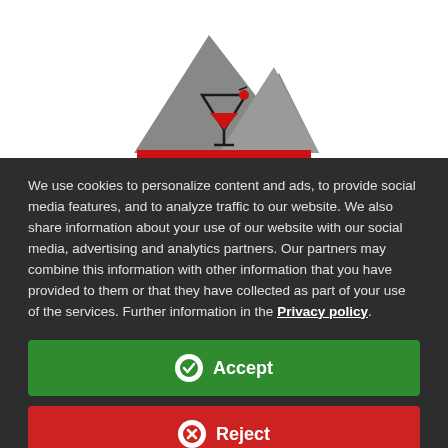[Figure (logo): Mountain silhouette logo with a cocktail glass (martini with red drink) in the center, red banner/platform at the base of the mountains]
We use cookies to personalize content and ads, to provide social media features, and to analyze traffic to our website. We also share information about your use of our website with our social media, advertising and analytics partners. Our partners may combine this information with other information that you have provided to them or that they have collected as part of your use of the services. Further information in the Privacy policy.
Accept
Reject
Edit settings...